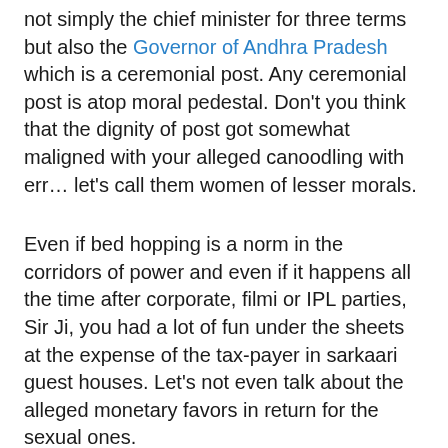not simply the chief minister for three terms but also the Governor of Andhra Pradesh which is a ceremonial post. Any ceremonial post is atop moral pedestal. Don't you think that the dignity of post got somewhat maligned with your alleged canoodling with err… let's call them women of lesser morals.
Even if bed hopping is a norm in the corridors of power and even if it happens all the time after corporate, filmi or IPL parties, Sir Ji, you had a lot of fun under the sheets at the expense of the tax-payer in sarkaari guest houses. Let's not even talk about the alleged monetary favors in return for the sexual ones.
Since you topped Allahabad University in Political Science, I am willing to disregard all the above salacious rumors. I strongly condemn the leering